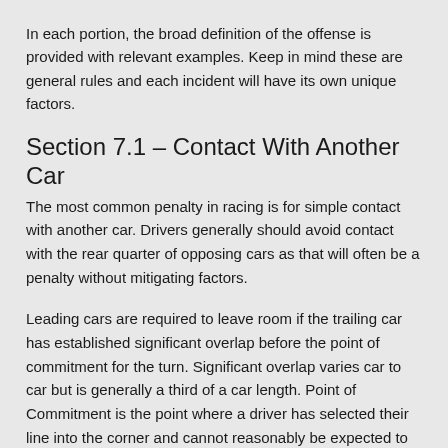In each portion, the broad definition of the offense is provided with relevant examples. Keep in mind these are general rules and each incident will have its own unique factors.
Section 7.1 – Contact With Another Car
The most common penalty in racing is for simple contact with another car. Drivers generally should avoid contact with the rear quarter of opposing cars as that will often be a penalty without mitigating factors.
Leading cars are required to leave room if the trailing car has established significant overlap before the point of commitment for the turn. Significant overlap varies car to car but is generally a third of a car length. Point of Commitment is the point where a driver has selected their line into the corner and cannot reasonably be expected to adjust their line. Generally this at the point of turn in or the point of braking/throttle manipulation into